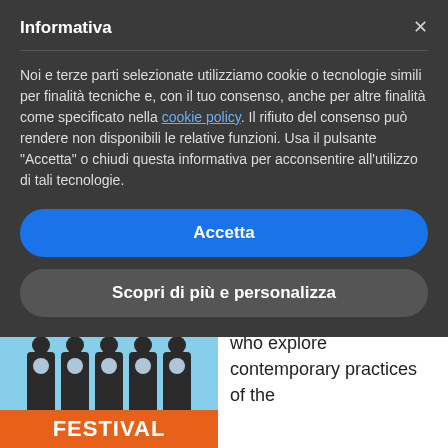Informativa
Noi e terze parti selezionate utilizziamo cookie o tecnologie simili per finalità tecniche e, con il tuo consenso, anche per altre finalità come specificato nella cookie policy. Il rifiuto del consenso può rendere non disponibili le relative funzioni. Usa il pulsante “Accetta” o chiudi questa informativa per acconsentire all’utilizzo di tali tecnologie.
Accetta
Scopri di più e personalizza
[Figure (photo): Festival promotional image showing group of people holding mirrors in front of their faces, with orange text '15-19 settembre 2021' and orange banner reading 'FESTIVAL' at bottom]
festival dedicated to artists and filmmakers who explore contemporary practices of the